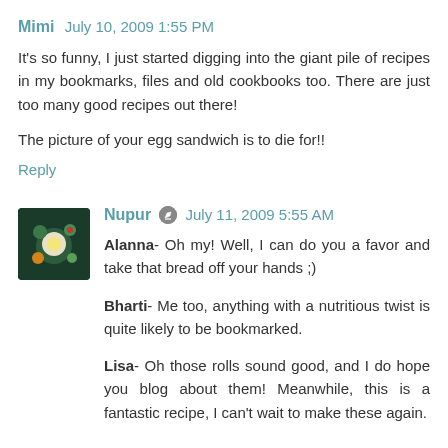Mimi  July 10, 2009 1:55 PM
It's so funny, I just started digging into the giant pile of recipes in my bookmarks, files and old cookbooks too. There are just too many good recipes out there!
The picture of your egg sandwich is to die for!!
Reply
[Figure (photo): Avatar image of Nupur - circular food photo on dark background]
Nupur  July 11, 2009 5:55 AM
Alanna- Oh my! Well, I can do you a favor and take that bread off your hands ;)
Bharti- Me too, anything with a nutritious twist is quite likely to be bookmarked.
Lisa- Oh those rolls sound good, and I do hope you blog about them! Meanwhile, this is a fantastic recipe, I can't wait to make these again.